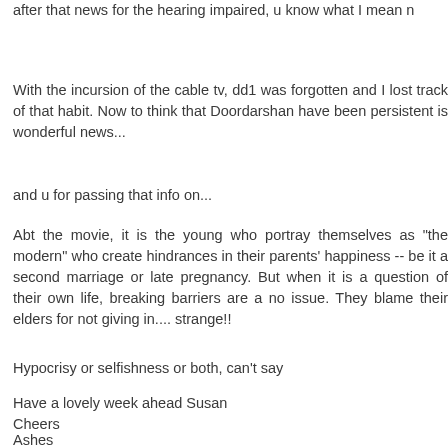after that news for the hearing impaired, u know what I mean n
With the incursion of the cable tv, dd1 was forgotten and I lost track of that habit. Now to think that Doordarshan have been persistent is wonderful news...
and u for passing that info on...
Abt the movie, it is the young who portray themselves as "the modern" who create hindrances in their parents' happiness -- be it a second marriage or late pregnancy. But when it is a question of their own life, breaking barriers are a no issue. They blame their elders for not giving in.... strange!!
Hypocrisy or selfishness or both, can't say
Have a lovely week ahead Susan
Cheers
Ashes